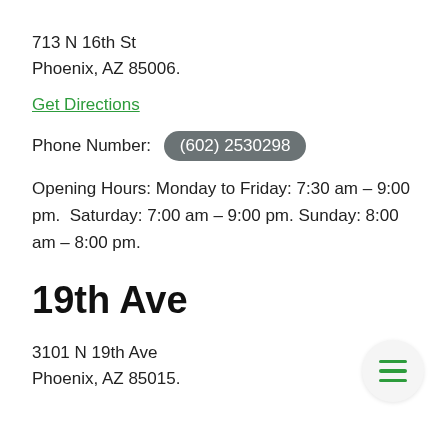713 N 16th St
Phoenix, AZ 85006.
Get Directions
Phone Number: (602) 2530298
Opening Hours: Monday to Friday: 7:30 am – 9:00 pm.  Saturday: 7:00 am – 9:00 pm. Sunday: 8:00 am – 8:00 pm.
19th Ave
3101 N 19th Ave
Phoenix, AZ 85015.